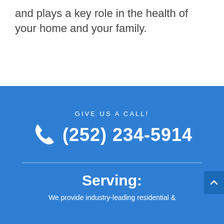and plays a key role in the health of your home and your family.
GIVE US A CALL!
(252) 234-5914
Serving:
We provide industry-leading residential &